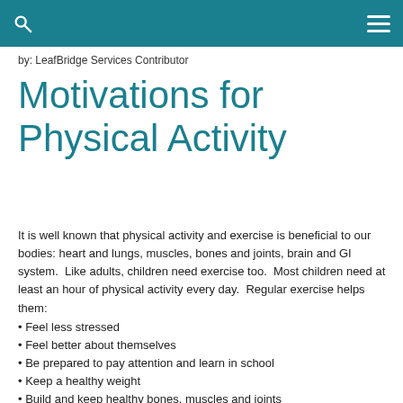by: LeafBridge Services Contributor
Motivations for Physical Activity
It is well known that physical activity and exercise is beneficial to our bodies: heart and lungs, muscles, bones and joints, brain and GI system.  Like adults, children need exercise too.  Most children need at least an hour of physical activity every day.  Regular exercise helps them:
Feel less stressed
Feel better about themselves
Be prepared to pay attention and learn in school
Keep a healthy weight
Build and keep healthy bones, muscles and joints